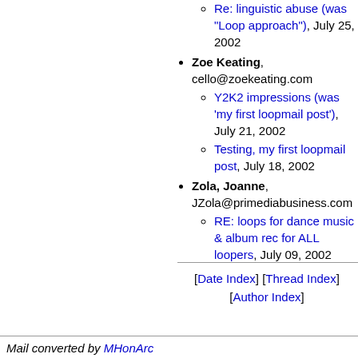Re: linguistic abuse (was "Loop approach"), July 25, 2002
Zoe Keating, cello@zoekeating.com
Y2K2 impressions (was 'my first loopmail post'), July 21, 2002
Testing, my first loopmail post, July 18, 2002
Zola, Joanne, JZola@primediabusiness.com
RE: loops for dance music & album rec for ALL loopers, July 09, 2002
[Date Index] [Thread Index] [Author Index]
Mail converted by MHonArc